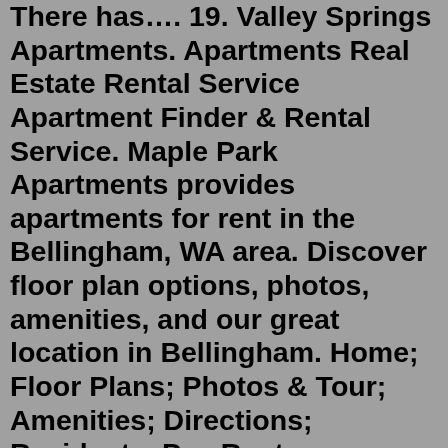There has…. 19. Valley Springs Apartments. Apartments Real Estate Rental Service Apartment Finder & Rental Service. Maple Park Apartments provides apartments for rent in the Bellingham, WA area. Discover floor plan options, photos, amenities, and our great location in Bellingham. Home; Floor Plans; Photos & Tour; Amenities; Directions; Residents. Pay Rent; Maintenance; Apply Now (360) 676-7368 ...1610 104th Avenue SE Bellevue WA for rent. Single Family Home for rent in Bellevue, WA for $10,000 with 5 bedrooms and 2 full baths, 3 three quarter baths, 1 half bath. This 5,319 square foot home was built in 2018 on a lot size of 0.2169 Acre (s).. Bedrooms: 5.Best jumpers, bounce houses, moonwalks and inflatable parties in Maple Valley, WA. Looking for fun bounce house rentals or indoor inflatable party centers near Maple Valley, WA. Get inflatble bouncy rentals and pump up the fun at your next inflatable party in Maple Valley, WAOn Point2, there are 28 homes for sale in Maple Valley, WA to choose from, with prices ranging from $85,000 to